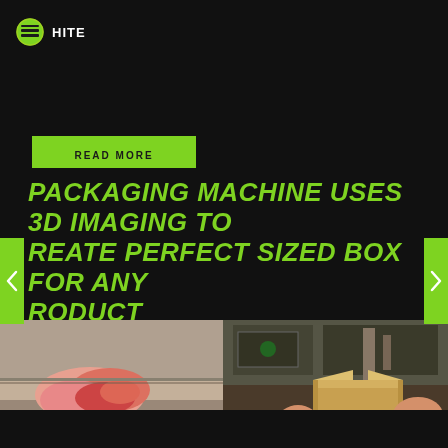[Figure (logo): Green circular logo icon with 'HITE' text next to it]
READ MORE
PACKAGING MACHINE USES 3D IMAGING TO REATE PERFECT SIZED BOX FOR ANY RODUCT
[Figure (photo): Two side-by-side photos of a packaging machine: left shows pink/red product on a conveyor, right shows cardboard box being formed with machinery]